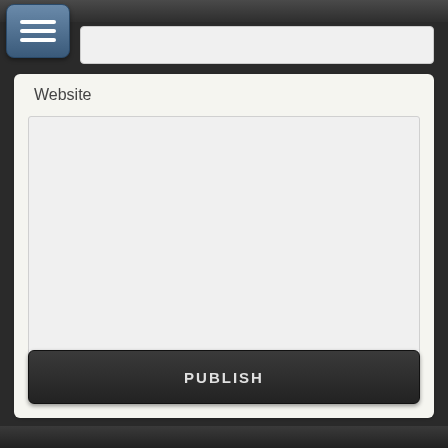[Figure (screenshot): Mobile app UI screenshot showing a menu button (hamburger icon), a search bar, a 'Website' label, a large empty textarea, and a dark PUBLISH button at the bottom, on a light gray panel with dark top and bottom bars.]
Website
PUBLISH